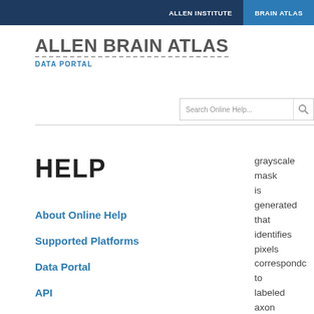ALLEN INSTITUTE | BRAIN ATLAS
ALLEN BRAIN ATLAS
DATA PORTAL
[Figure (other): Search box with placeholder text 'Search Online Help...' and a magnifying glass icon]
HELP
About Online Help
Supported Platforms
Data Portal
API
grayscale mask is generated that identifies pixels corresponding to labeled axon trajectories. The